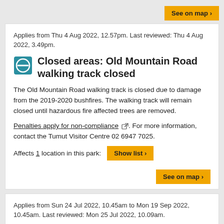[Figure (other): See on map button at top right]
Applies from Thu 4 Aug 2022, 12.57pm. Last reviewed: Thu 4 Aug 2022, 3.49pm.
Closed areas: Old Mountain Road walking track closed
The Old Mountain Road walking track is closed due to damage from the 2019-2020 bushfires. The walking track will remain closed until hazardous fire affected trees are removed.
Penalties apply for non-compliance. For more information, contact the Tumut Visitor Centre 02 6947 7025.
Affects 1 location in this park:
See on map
Applies from Sun 24 Jul 2022, 10.45am to Mon 19 Sep 2022, 10.45am. Last reviewed: Mon 25 Jul 2022, 10.09am.
Other planned events: Notice of tree risk remediation works